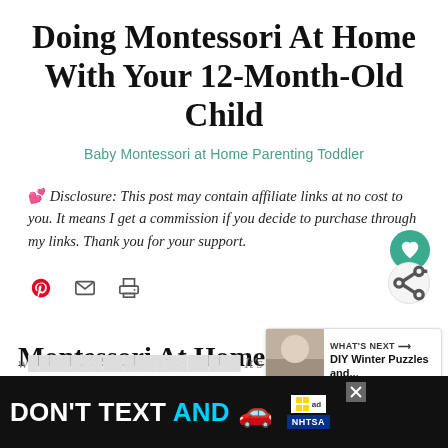Doing Montessori At Home With Your 12-Month-Old Child
Baby Montessori at Home Parenting Toddler
💕 Disclosure: This post may contain affiliate links at no cost to you. It means I get a commission if you decide to purchase through my links. Thank you for your support.
Montessori At Home with a 12 Months Old Child
[Figure (screenshot): WHAT'S NEXT box showing DIY Winter Puzzles and... with a thumbnail image]
[Figure (infographic): DON'T TEXT AND [car emoji] advertisement banner from NHTSA]